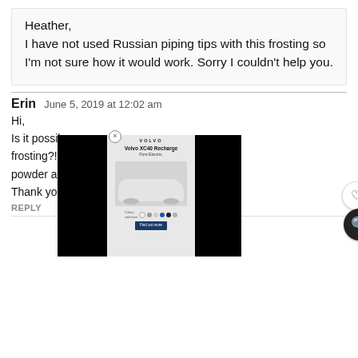Heather,
I have not used Russian piping tips with this frosting so I'm not sure how it would work. Sorry I couldn't help you.
Erin   June 5, 2019 at 12:02 am
Hi,
Is it possib[...] ese [...] frosting?! I[...] co [...] powder an[...] huch?
Thank you[...]
[Figure (screenshot): Volvo XC40 Recharge Pure Electric advertisement overlay with black side panels and color selection dots]
REPLY